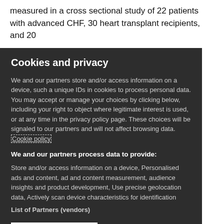measured in a cross sectional study of 22 patients with advanced CHF, 30 heart transplant recipients, and 20
Cookies and privacy
We and our partners store and/or access information on a device, such a unique IDs in cookies to process personal data. You may accept or manage your choices by clicking below, including your right to object where legitimate interest is used, or at any time in the privacy policy page. These choices will be signaled to our partners and will not affect browsing data. Cookie policy
We and our partners process data to provide:
Store and/or access information on a device, Personalised ads and content, ad and content measurement, audience insights and product development, Use precise geolocation data, Actively scan device characteristics for identification
List of Partners (vendors)
I Accept